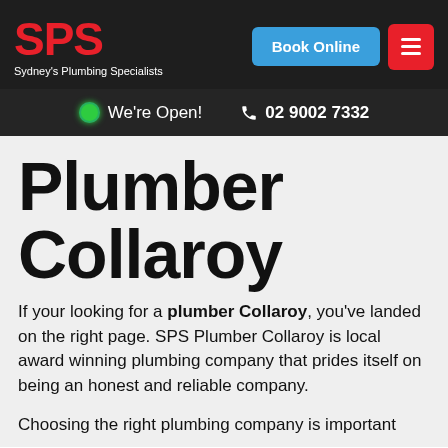SPS Sydney's Plumbing Specialists | Book Online | Menu
We're Open! 02 9002 7332
Plumber Collaroy
If your looking for a plumber Collaroy, you've landed on the right page. SPS Plumber Collaroy is local award winning plumbing company that prides itself on being an honest and reliable company.
Choosing the right plumbing company is important